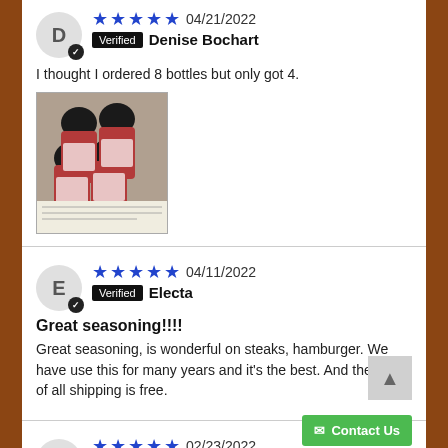D — 5 stars — 04/21/2022 — Verified — Denise Bochart
I thought I ordered 8 bottles but only got 4.
[Figure (photo): Photo of 4 dark-capped seasoning bottles on a surface with a paper document]
E — 5 stars — 04/11/2022 — Verified — Electa
Great seasoning!!!!
Great seasoning, is wonderful on steaks, hamburger. We have use this for many years and it's the best. And the best of all shipping is free.
L — 5 stars — 02/23/2022 — Verified — L.D.
Try it!!!!